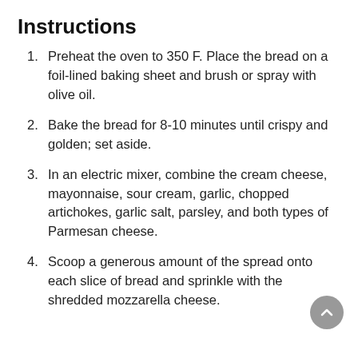Instructions
Preheat the oven to 350 F. Place the bread on a foil-lined baking sheet and brush or spray with olive oil.
Bake the bread for 8-10 minutes until crispy and golden; set aside.
In an electric mixer, combine the cream cheese, mayonnaise, sour cream, garlic, chopped artichokes, garlic salt, parsley, and both types of Parmesan cheese.
Scoop a generous amount of the spread onto each slice of bread and sprinkle with the shredded mozzarella cheese.